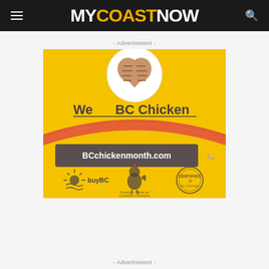MYCOASTNOW
- Advertisment -
[Figure (illustration): BC Chicken advertisement banner on yellow background. Shows heart-shaped grilled chicken on a plate, text 'We ♥ BC Chicken', URL box 'BCchickenmonth.com', and logos for buyBC, a chicken brand, and a certification seal.]
- Advertisment -